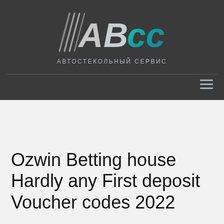[Figure (logo): ABCC Автостекольный сервис logo with stylized metallic letters on dark background]
Ozwin Betting house Hardly any First deposit Voucher codes 2022